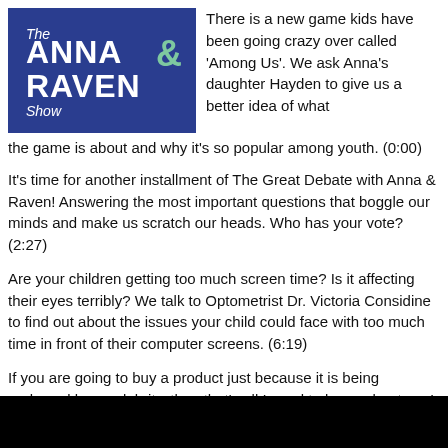[Figure (photo): Photo of The Anna & Raven Show sign/logo on a blue background with white bold text and green ampersand]
There is a new game kids have been going crazy over called ‘Among Us’. We ask Anna’s daughter Hayden to give us a better idea of what the game is about and why it’s so popular among youth. (0:00)
It’s time for another installment of The Great Debate with Anna & Raven! Answering the most important questions that boggle our minds and make us scratch our heads. Who has your vote? (2:27)
Are your children getting too much screen time? Is it affecting their eyes terribly? We talk to Optometrist Dr. Victoria Considine to find out about the issues your child could face with too much time in front of their computer screens. (6:19)
If you are going to buy a product just because it is being endorsed by a celebrity, than that’s all I need to know about you! (10:13)